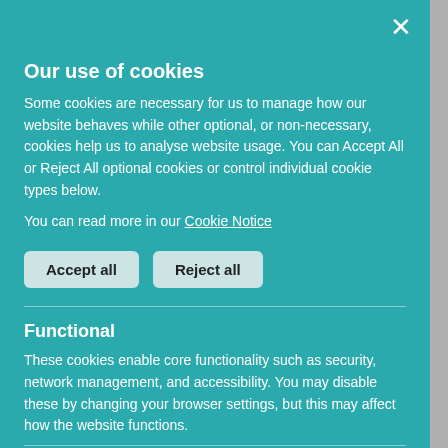Thou will keep him in perfect peace whose mind is stayed on thee. The way of the just is uprightness: thou dost direct the path of the just. e waited for the desire of our souls, is thy Name. the desire of the office.
Our use of cookies
Some cookies are necessary for us to manage how our website behaves while other optional, or non-necessary, cookies help us to analyse website usage. You can Accept All or Reject All optional cookies or control individual cookie types below.
You can read more in our Cookie Notice
Accept all
Reject all
Functional
These cookies enable core functionality such as security, network management, and accessibility. You may disable these by changing your browser settings, but this may affect how the website functions.
Analytics cookies
Analytical cookies help us to improve our website by collecting and reporting information on its usage.